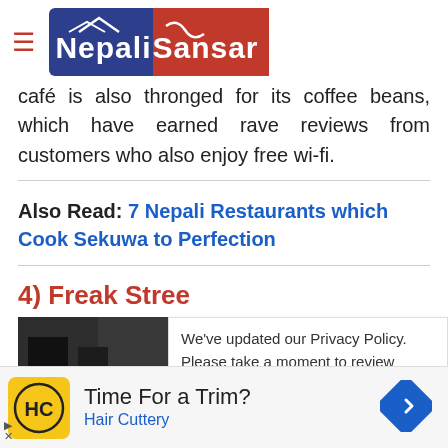Nepali Sansar
café is also thronged for its coffee beans, which have earned rave reviews from customers who also enjoy free wi-fi.
Also Read: 7 Nepali Restaurants which Cook Sekuwa to Perfection
4) Freak Stree
[Figure (photo): Dark thumbnail image of a building interior or exterior]
We've updated our Privacy Policy. Please take a moment to review those changes. By clicking I Agree, You Agree to Nepalisansar
[Figure (logo): Hair Cuttery advertisement with HC logo, Time For a Trim? text and blue navigation arrow icon]